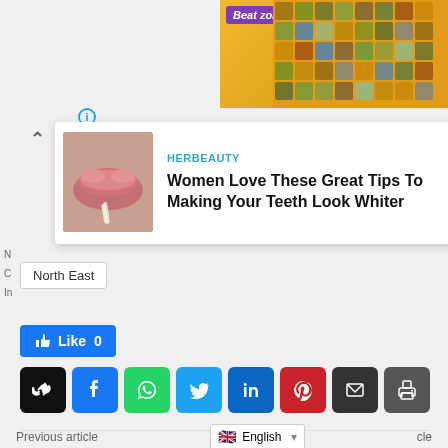[Figure (screenshot): Advertisement banner for a zombie game with 'Beat zombies!' text on purple label, game grid visible]
[Figure (screenshot): Promoted article card from HERBEAUTY showing a close-up photo of lips and a cotton swab, with title 'Women Love These Great Tips To Making Your Teeth Look Whiter']
North East
[Figure (screenshot): Facebook Like button showing '0' likes]
[Figure (screenshot): Social share buttons row: link, Facebook, WhatsApp, Twitter, LinkedIn, Pinterest, email, print]
Previous article
[Figure (screenshot): Language selector dropdown showing English with UK flag]
cle